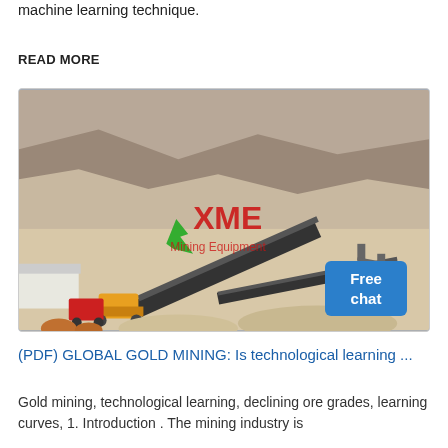machine learning technique.
READ MORE
[Figure (photo): Aerial view of an open-pit mining operation with heavy machinery, conveyor belts, and XME Mining Equipment branding/watermark. A chat assistant graphic with 'Free chat' button is overlaid on the top-right corner.]
(PDF) GLOBAL GOLD MINING: Is technological learning ...
Gold mining, technological learning, declining ore grades, learning curves, 1. Introduction . The mining industry is